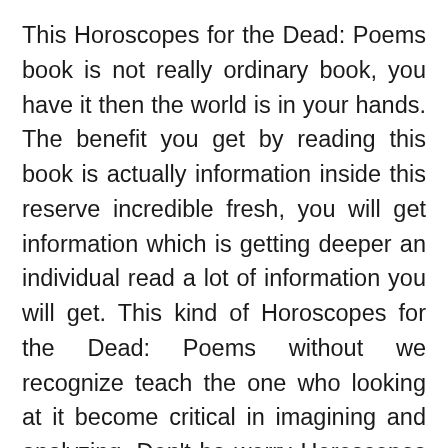This Horoscopes for the Dead: Poems book is not really ordinary book, you have it then the world is in your hands. The benefit you get by reading this book is actually information inside this reserve incredible fresh, you will get information which is getting deeper an individual read a lot of information you will get. This kind of Horoscopes for the Dead: Poems without we recognize teach the one who looking at it become critical in imagining and analyzing. Don’t be worry Horoscopes for the Dead: Poems can bring any time you are and not make your tote space or bookshelves’ grow to be full because you can have it inside your lovely laptop even cell phone. This Horoscopes for the Dead: Poems having great